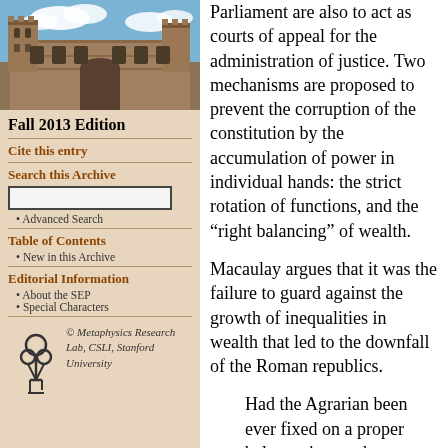[Figure (photo): Photograph of a stone university building with Gothic architecture under a blue sky with clouds]
Fall 2013 Edition
Cite this entry
Search this Archive
Advanced Search
Table of Contents
New in this Archive
Editorial Information
About the SEP
Special Characters
[Figure (logo): Metaphysics Research Lab logo with interlinked shapes]
© Metaphysics Research Lab, CSLI, Stanford University
Parliament are also to act as courts of appeal for the administration of justice. Two mechanisms are proposed to prevent the corruption of the constitution by the accumulation of power in individual hands: the strict rotation of functions, and the “right balancing” of wealth.
Macaulay argues that it was the failure to guard against the growth of inequalities in wealth that led to the downfall of the Roman republics.
Had the Agrarian been ever fixed on a proper balance, it must have prevented that extreme